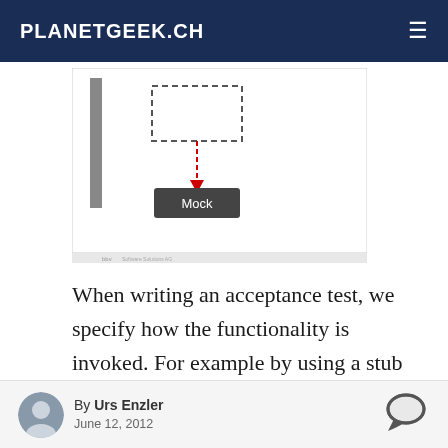PLANETGEEK.CH
[Figure (schematic): Diagram showing a dashed-border box with a red dashed arrow pointing down to a dark rectangle labeled 'Mock', with a vertical bar on the left side. BBV Software Solutions AG watermark at bottom.]
When writing an acceptance test, we specify how the functionality is invoked. For example by using a stub instead of the real service interface that we can call from the test code. And we define the effect that should be observed when the functionality was executed. For example by using a mock instead of a real
By Urs Enzler
June 12, 2012